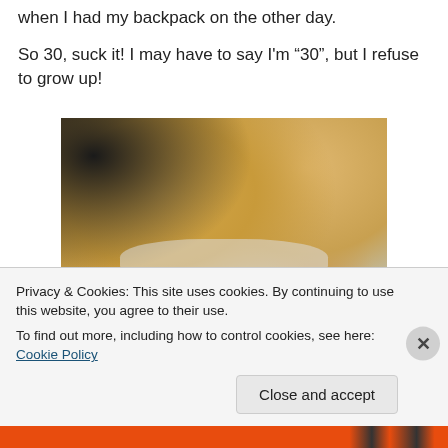when I had my backpack on the other day.
So 30, suck it! I may have to say I'm “30”, but I refuse to grow up!
[Figure (photo): Selfie of a blonde woman wearing large white sunglasses, taken inside a car.]
Privacy & Cookies: This site uses cookies. By continuing to use this website, you agree to their use.
To find out more, including how to control cookies, see here: Cookie Policy
Close and accept